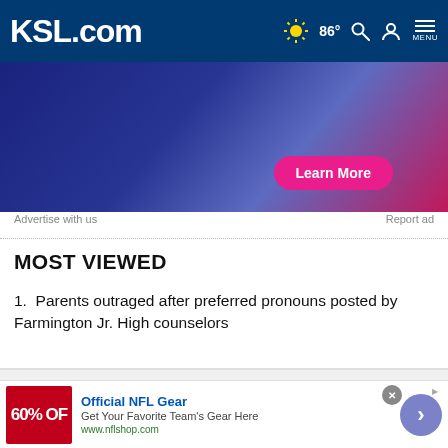KSL.com | 86° | Search | Account | MENU
[Figure (screenshot): Advertisement banner with blue/purple gradient background and a pink 'Learn More' button]
Advertise with us    Report ad
MOST VIEWED
1. Parents outraged after preferred pronouns posted by Farmington Jr. High counselors
Cookie Notice

We use cookies to improve your experience, analyze site traffic, and to personalize content and ads. By continuing to use our site, you consent to our use of cookies. Please visit our Terms of Use and Privacy Policy for more information
[Figure (screenshot): Bottom advertisement bar: NFL Shop ad showing '60% OFF' with red background, 'Official NFL Gear', 'Get Your Favorite Team's Gear Here', 'www.nflshop.com', and a purple circle arrow button]